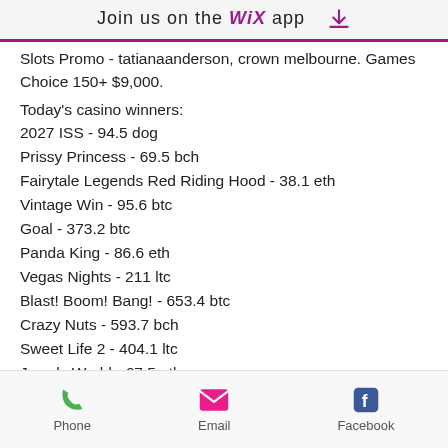Join us on the WiX app
Slots Promo - tatianaanderson, crown melbourne. Games Choice 150+ $9,000.
Today's casino winners:
2027 ISS - 94.5 dog
Prissy Princess - 69.5 bch
Fairytale Legends Red Riding Hood - 38.1 eth
Vintage Win - 95.6 btc
Goal - 373.2 btc
Panda King - 86.6 eth
Vegas Nights - 211 ltc
Blast! Boom! Bang! - 653.4 btc
Crazy Nuts - 593.7 bch
Sweet Life 2 - 404.1 ltc
Jewels World - 67.5 eth
The Winnings of Oz - 548.8 eth
Phone   Email   Facebook